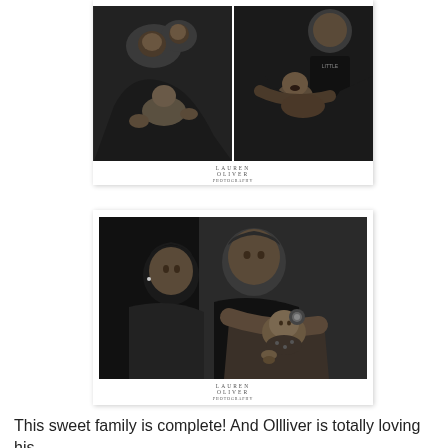[Figure (photo): Two black-and-white photographs side by side in a white card: left shows a couple looking at a newborn baby, right shows a toddler holding a crying newborn. A 'Lauren Oliver' watermark appears below.]
[Figure (photo): A black-and-white photograph in a white card showing a couple (man and woman) looking down at a newborn baby with a flower headband, held by the man. A 'Lauren Oliver' watermark appears below.]
This sweet family is complete! And Ollliver is totally loving his